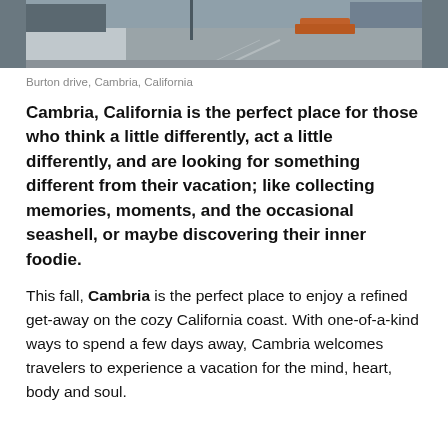[Figure (photo): Street-level photo of Burton Drive in Cambria, California, showing a road, sidewalk, and parked vehicles.]
Burton drive, Cambria, California
Cambria, California is the perfect place for those who think a little differently, act a little differently, and are looking for something different from their vacation; like collecting memories, moments, and the occasional seashell, or maybe discovering their inner foodie.
This fall, Cambria is the perfect place to enjoy a refined get-away on the cozy California coast. With one-of-a-kind ways to spend a few days away, Cambria welcomes travelers to experience a vacation for the mind, heart, body and soul.